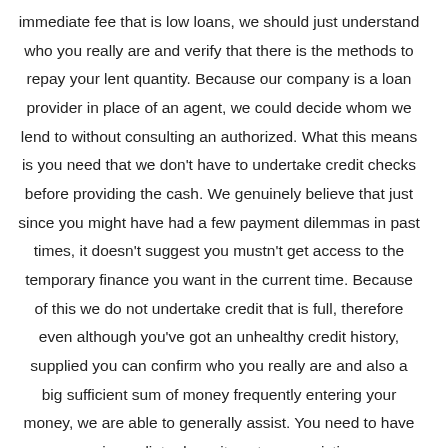immediate fee that is low loans, we should just understand who you really are and verify that there is the methods to repay your lent quantity. Because our company is a loan provider in place of an agent, we could decide whom we lend to without consulting an authorized. What this means is you need that we don't have to undertake credit checks before providing the cash. We genuinely believe that just since you might have had a few payment dilemmas in past times, it doesn't suggest you mustn't get access to the temporary finance you want in the current time. Because of this we do not undertake credit that is full, therefore even although you've got an unhealthy credit history, supplied you can confirm who you really are and also a big sufficient sum of money frequently entering your money, we are able to generally assist. You need to have an immediate deposit center, an existing